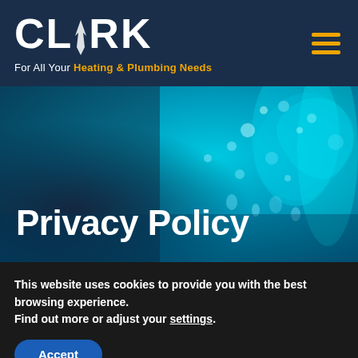[Figure (logo): Clark logo — white bold text 'CLARK' with flame icon, tagline 'For All Your Heating & Plumbing Needs' in white and orange]
[Figure (photo): Blue water splashing with bubbles — hero banner background image for Privacy Policy page]
Privacy Policy
This website uses cookies to provide you with the best browsing experience.
Find out more or adjust your settings.
Accept